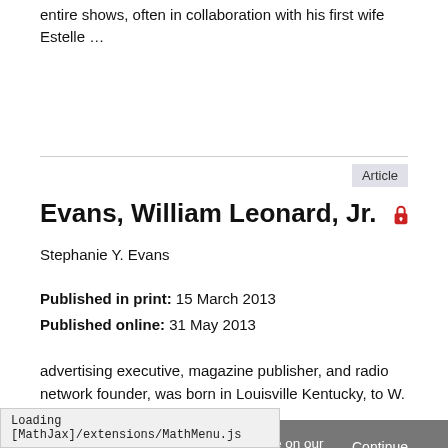entire shows, often in collaboration with his first wife Estelle …
Article
Evans, William Leonard, Jr.
Stephanie Y. Evans
Published in print: 15 March 2013
Published online: 31 May 2013
advertising executive, magazine publisher, and radio network founder, was born in Louisville Kentucky, to W.
We use cookies to enhance your experience on our website. By clicking 'continue' or by continuing to use our website, you are agreeing to our use of cookies. You can change your cookie settings at any time.
Continue
Find out more
Loading [MathJax]/extensions/MathMenu.js